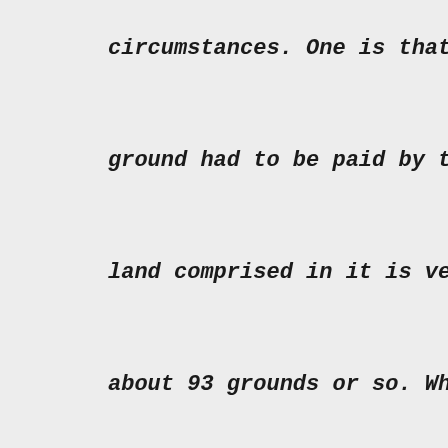circumstances. One is that betterment le
ground had to be paid by the vendee and
land comprised in it is very much more e
about 93 grounds or so. Whatever that ma
us to be only fair that where sale deeds
different transactions are relied on beh
Government, that representing the highes
preferred to the rest unless there are s